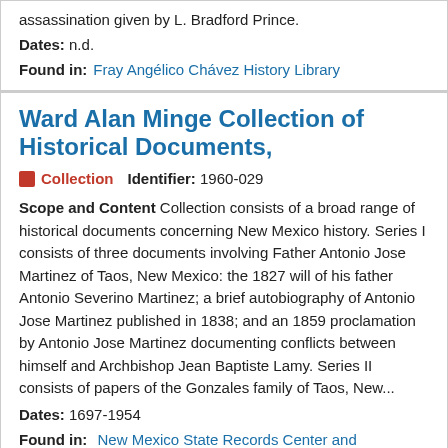assassination given by L. Bradford Prince.
Dates: n.d.
Found in: Fray Angélico Chávez History Library
Ward Alan Minge Collection of Historical Documents,
Collection   Identifier: 1960-029
Scope and Content Collection consists of a broad range of historical documents concerning New Mexico history. Series I consists of three documents involving Father Antonio Jose Martinez of Taos, New Mexico: the 1827 will of his father Antonio Severino Martinez; a brief autobiography of Antonio Jose Martinez published in 1838; and an 1859 proclamation by Antonio Jose Martinez documenting conflicts between himself and Archbishop Jean Baptiste Lamy. Series II consists of papers of the Gonzales family of Taos, New...
Dates: 1697-1954
Found in: New Mexico State Records Center and